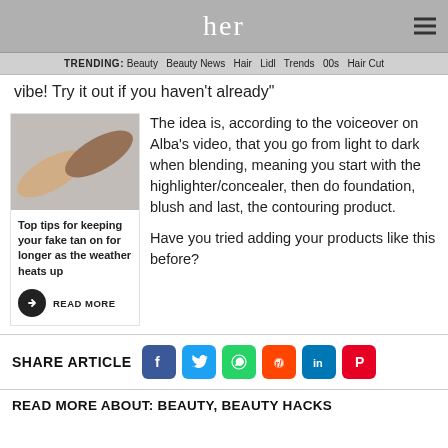her
TRENDING: Beauty  Beauty News  Hair  Lidl  Trends  00s  Hair Cut
vibe! Try it out if you haven't already"
[Figure (photo): Two arms reaching toward each other, showing different skin tones, against a light background]
Top tips for keeping your fake tan on for longer as the weather heats up
READ MORE
The idea is, according to the voiceover on Alba's video, that you go from light to dark when blending, meaning you start with the highlighter/concealer, then do foundation, blush and last, the contouring product.

Have you tried adding your products like this before?
SHARE ARTICLE
READ MORE ABOUT: BEAUTY  BEAUTY HACKS